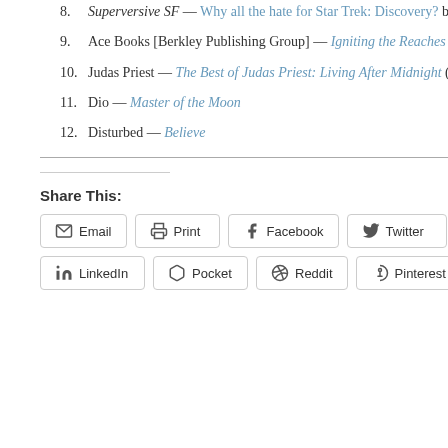8. Superversive SF — Why all the hate for Star Trek: Discovery? by "Sci Phi"
9. Ace Books [Berkley Publishing Group] — Igniting the Reaches by David Drake
10. Judas Priest — The Best of Judas Priest: Living After Midnight (2002 reissue)
11. Dio — Master of the Moon
12. Disturbed — Believe
Share This:
Email
Print
Facebook
Twitter
LinkedIn
Pocket
Reddit
Pinterest
[Figure (logo): EST 2012 banner logo with chevron/shield shape]
SHARE widget
pages
about me
administrivia
affiliations
awards and decorations
education
links
looking for me?
media coverage
military record
politics, philosophy
previous web incarnations
projects, hijinks, scandals
"no one wants to take your guns"
clear the bench new mexico
new mexico libertarians